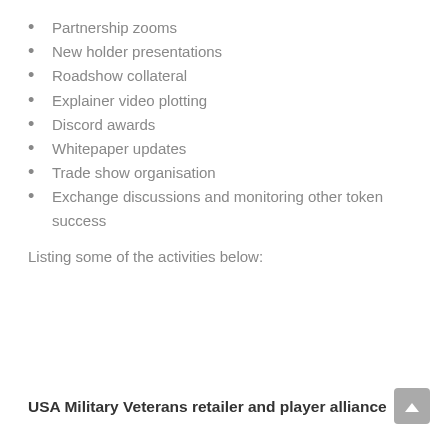Partnership zooms
New holder presentations
Roadshow collateral
Explainer video plotting
Discord awards
Whitepaper updates
Trade show organisation
Exchange discussions and monitoring other token success
Listing some of the activities below:
USA Military Veterans retailer and player alliance